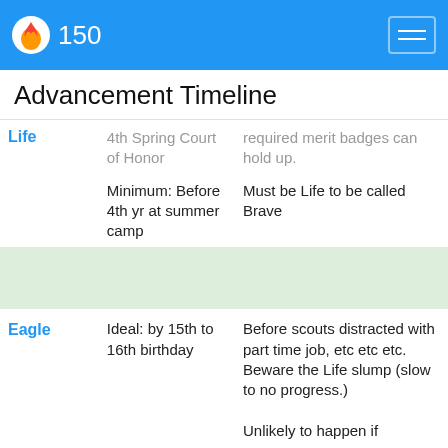150
Advancement Timeline
| Rank | Timing | Notes |
| --- | --- | --- |
| Life | 4th Spring Court of Honor

Minimum: Before 4th yr at summer camp | required merit badges can hold up.

Must be Life to be called Brave |
| Eagle | Ideal: by 15th to 16th birthday | Before scouts distracted with part time job, etc etc etc. Beware the Life slump (slow to no progress.)

Unlikely to happen if |